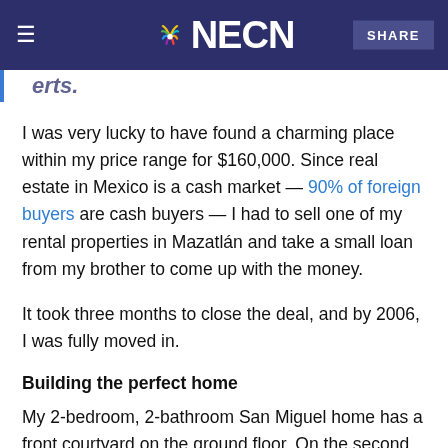NECN
erts.
I was very lucky to have found a charming place within my price range for $160,000. Since real estate in Mexico is a cash market — 90% of foreign buyers are cash buyers — I had to sell one of my rental properties in Mazatlán and take a small loan from my brother to come up with the money.
It took three months to close the deal, and by 2006, I was fully moved in.
Building the perfect home
My 2-bedroom, 2-bathroom San Miguel home has a front courtyard on the ground floor. On the second floor is the living room, kitchen, dining area and a small terrace.